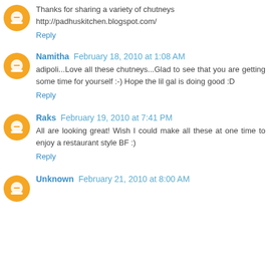Thanks for sharing a variety of chutneys http://padhuskitchen.blogspot.com/
Reply
Namitha February 18, 2010 at 1:08 AM
adipoli...Love all these chutneys...Glad to see that you are getting some time for yourself :-) Hope the lil gal is doing good :D
Reply
Raks February 19, 2010 at 7:41 PM
All are looking great! Wish I could make all these at one time to enjoy a restaurant style BF :)
Reply
Unknown February 21, 2010 at 8:00 AM